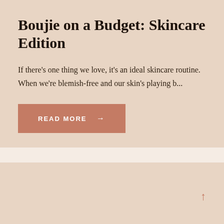Boujie on a Budget: Skincare Edition
If there's one thing we love, it's an ideal skincare routine. When we're blemish-free and our skin's playing b...
READ MORE →